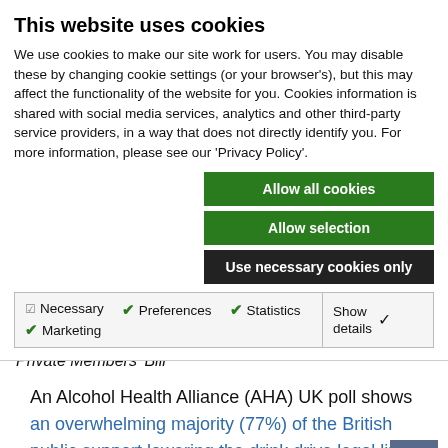This website uses cookies
We use cookies to make our site work for users. You may disable these by changing cookie settings (or your browser's), but this may affect the functionality of the website for you. Cookies information is shared with social media services, analytics and other third-party service providers, in a way that does not directly identify you. For more information, please see our 'Privacy Policy'.
Allow all cookies
Allow selection
Use necessary cookies only
Necessary  Preferences  Statistics  Marketing  Show details
Private Members' Bill
An Alcohol Health Alliance (AHA) UK poll shows an overwhelming majority (77%) of the British public support lowering the drink drive legal limit in England and Wales to the same level as Scotland